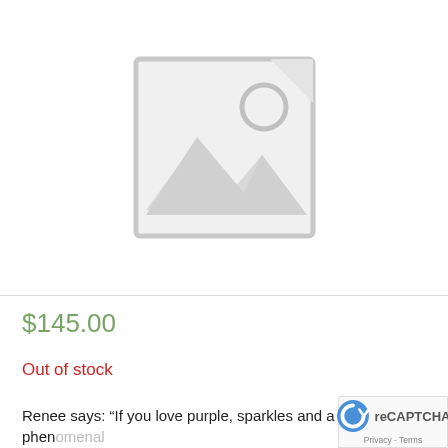[Figure (illustration): Placeholder image with a grey border showing a mountain/landscape icon and a circle (sun) icon — typical 'no image available' placeholder graphic]
$145.00
Out of stock
Renee says: “If you love purple, sparkles and a truly phenomenal